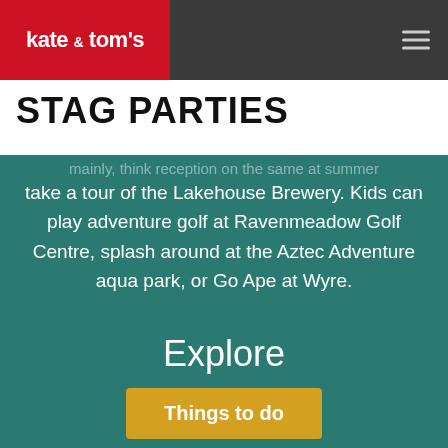kate & tom's
STAG PARTIES
take a tour of the Lakehouse Brewery. Kids can play adventure golf at Ravenmeadow Golf Centre, splash around at the Aztec Adventure aqua park, or Go Ape at Wyre.
Explore
Things to do